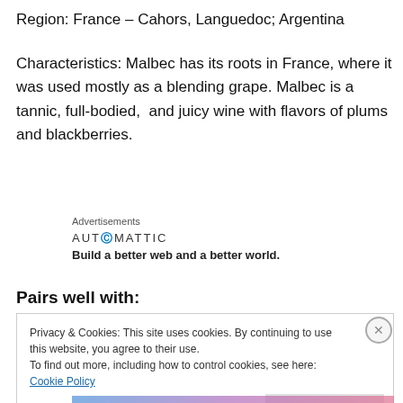Region: France – Cahors, Languedoc; Argentina
Characteristics: Malbec has its roots in France, where it was used mostly as a blending grape. Malbec is a tannic, full-bodied,  and juicy wine with flavors of plums and blackberries.
[Figure (other): Automattic advertisement: logo reads AUTOMATTIC with @ symbol in blue, tagline reads 'Build a better web and a better world.']
Pairs well with:
Privacy & Cookies: This site uses cookies. By continuing to use this website, you agree to their use. To find out more, including how to control cookies, see here: Cookie Policy